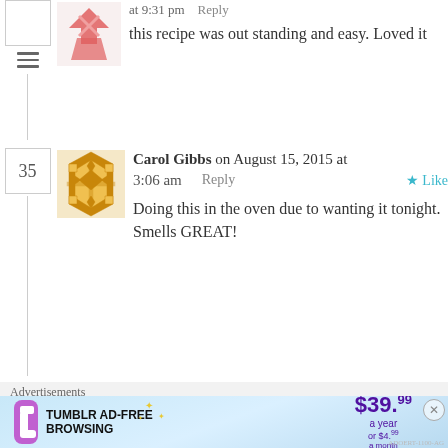at 9:31 pm   Reply
this recipe was out standing and easy. Loved it
Carol Gibbs on August 15, 2015 at 3:06 am   Reply   ★ Like
Doing this in the oven due to wanting it tonight. Smells GREAT!
Leave a Reply
Your email address will not be published. Required
Advertisements
[Figure (infographic): Tumblr Ad-Free Browsing advertisement banner: $39.99 a year or $4.99 a month]